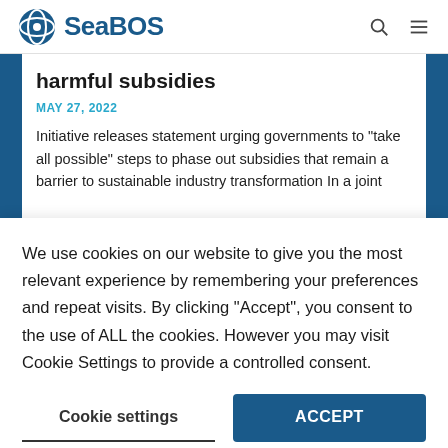SeaBOS
harmful subsidies
MAY 27, 2022
Initiative releases statement urging governments to "take all possible" steps to phase out subsidies that remain a barrier to sustainable industry transformation In a joint
We use cookies on our website to give you the most relevant experience by remembering your preferences and repeat visits. By clicking "Accept", you consent to the use of ALL the cookies. However you may visit Cookie Settings to provide a controlled consent.
Cookie settings
ACCEPT